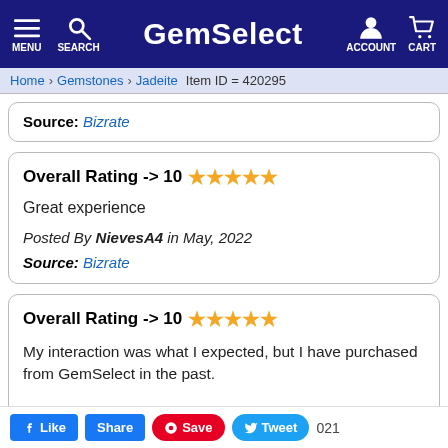GemSelect — MENU SEARCH ACCOUNT CART
Home > Gemstones > Jadeite   Item ID = 420295
Source: Bizrate
Overall Rating -> 10 ★★★★★
Great experience
Posted By NievesA4 in May, 2022
Source: Bizrate
Overall Rating -> 10 ★★★★★
My interaction was what I expected, but I have purchased from GemSelect in the past.
...021